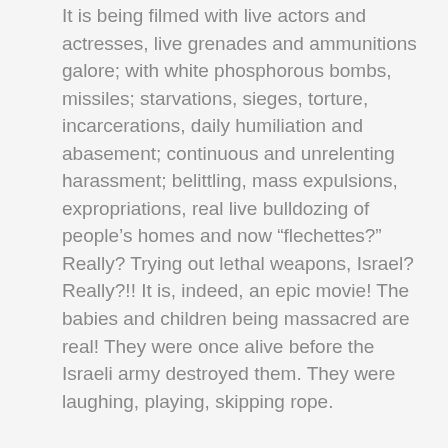It is being filmed with live actors and actresses, live grenades and ammunitions galore; with white phosphorous bombs, missiles; starvations, sieges, torture, incarcerations, daily humiliation and abasement; continuous and unrelenting harassment; belittling, mass expulsions, expropriations, real live bulldozing of people's homes and now “flechettes?” Really? Trying out lethal weapons, Israel? Really?!! It is, indeed, an epic movie! The babies and children being massacred are real! They were once alive before the Israeli army destroyed them. They were laughing, playing, skipping rope.
Here is little Ahmad: his mother just whacked him for spitting on his sister and right then the Israeli missile threw him sixteen feet up in the air knocking the life out of him!
Here is little Nissan: her father just sent her home because she was playing football with the boys and scoring more than